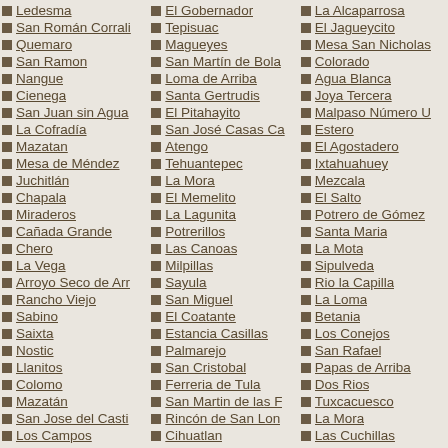Ledesma
San Román Corrali
Quemaro
San Ramon
Nangue
Cienega
San Juan sin Agua
La Cofradía
Mazatan
Mesa de Méndez
Juchitlán
Chapala
Miraderos
Cañada Grande
Chero
La Vega
Arroyo Seco de Arr
Rancho Viejo
Sabino
Saixta
Nostic
Llanitos
Colomo
Mazatán
San Jose del Casti
Los Campos
El Gobernador
Tepisuac
Magueyes
San Martín de Bola
Loma de Arriba
Santa Gertrudis
El Pitahayito
San José Casas Ca
Atengo
Tehuantepec
La Mora
El Memelito
La Lagunita
Potrerillos
Las Canoas
Milpillas
Sayula
San Miguel
El Coatante
Estancia Casillas
Palmarejo
San Cristobal
Ferreria de Tula
San Martin de las F
Rincón de San Lon
Cihuatlan
La Alcaparrosa
El Jagueycito
Mesa San Nicholas
Colorado
Agua Blanca
Joya Tercera
Malpaso Número U
Estero
El Agostadero
Ixtahuahuey
Mezcala
El Salto
Potrero de Gómez
Santa Maria
La Mota
Sipulveda
Rio la Capilla
La Loma
Betania
Los Conejos
San Rafael
Papas de Arriba
Dos Rios
Tuxcacuesco
La Mora
Las Cuchillas